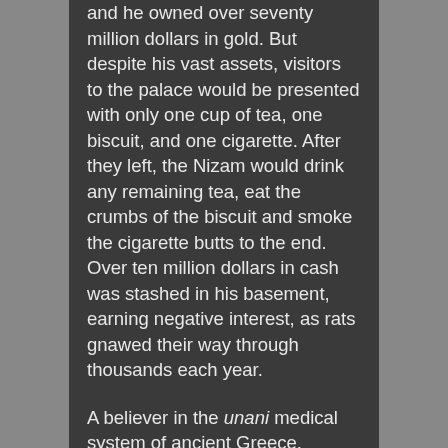and he owned over seventy million dollars in gold. But despite his vast assets, visitors to the palace would be presented with only one cup of tea, one biscuit, and one cigarette. After they left, the Nizam would drink any remaining tea, eat the crumbs of the biscuit and smoke the cigarette butts to the end. Over ten million dollars in cash was stashed in his basement, earning negative interest, as rats gnawed their way through thousands each year.
A believer in the unani medical system of ancient Greece, Hyderabad became the only place in the world with free clinics and a hospital devoted to unani medicine,